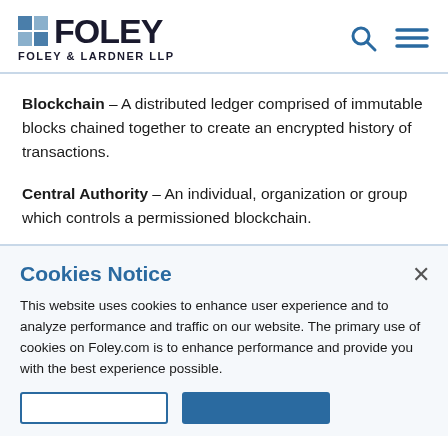FOLEY — FOLEY & LARDNER LLP
Blockchain – A distributed ledger comprised of immutable blocks chained together to create an encrypted history of transactions.
Central Authority – An individual, organization or group which controls a permissioned blockchain.
Cookies Notice
This website uses cookies to enhance user experience and to analyze performance and traffic on our website. The primary use of cookies on Foley.com is to enhance performance and provide you with the best experience possible.